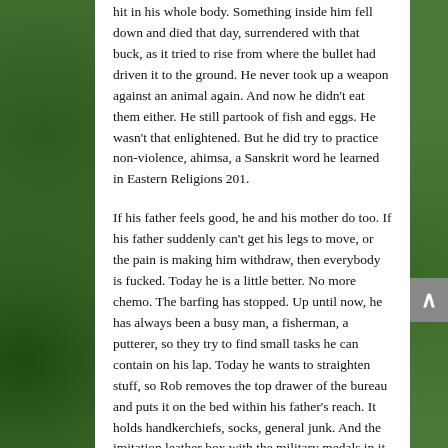hit in his whole body. Something inside him fell down and died that day, surrendered with that buck, as it tried to rise from where the bullet had driven it to the ground. He never took up a weapon against an animal again. And now he didn't eat them either. He still partook of fish and eggs. He wasn't that enlightened. But he did try to practice non-violence, ahimsa, a Sanskrit word he learned in Eastern Religions 201.
If his father feels good, he and his mother do too. If his father suddenly can't get his legs to move, or the pain is making him withdraw, then everybody is fucked. Today he is a little better. No more chemo. The barfing has stopped. Up until now, he has always been a busy man, a fisherman, a putterer, so they try to find small tasks he can contain on his lap. Today he wants to straighten stuff, so Rob removes the top drawer of the bureau and puts it on the bed within his father's reach. It holds handkerchiefs, socks, general junk. And the imitation leather box with the military medals in it.